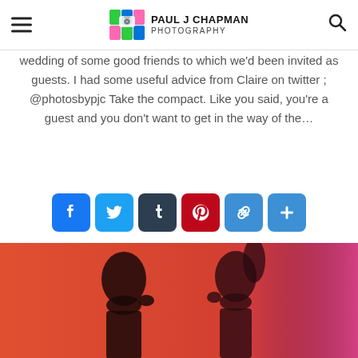Paul J Chapman Photography
wedding of some good friends to which we'd been invited as guests. I had some useful advice from Claire on twitter ; @photosbypjc Take the compact. Like you said, you're a guest and you don't want to get in the way of the…
[Figure (other): Social sharing buttons: Facebook, Twitter, Tumblr, Pinterest, Link, Add more]
[Figure (photo): Two silhouetted figures facing each other against a warm orange-red background, appearing to be about to kiss, with a pink/magenta glow on the right side]